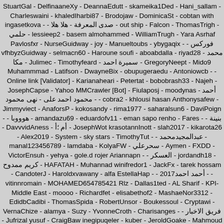StuartGal - DelfinaaneXy - DeannaEdutt - skameika1Ded - Hani_sallam - Charleswaini - khaledIharbi87 - Brodojaw - DominicaSt - cobtan with ingasetkova - - صدى المعرفة - هلا هلا - out ship - Falcon - ThomasTrigh - حلمي - lessieep2 - basem almohammed - WilliamTrugh - Yara Asrhaf Pavlosfxr - NurseGuidway - joy - Manueltoubs - ybygaqix - - فوركس vfhbyzGuidway - selmacn60 - Haroune soufi - aboabdalla - riyad28 - محمد مكا - Julimec - Timothyfeard - سميرة احمد - GregoryNeept - Mido9 Muhammmad - Latifson - DwayneBix - obupugeraedu - Antoniowcb - - Online link [Validator] - Karianaheari - Petertat - bobobrash33 - Najeh - JosephCapse - Yahoo MMCrawler [Bot] - Fiulaposj - moodynas - أحمد محمود احمد على - نهى محمود - - cobra2 - khlousi hasan Anthonysafew - Jimmyviect - AnaforsP - kokosandy - rima1977 - saharalsun6 - DaviPoign - - هوووبا - amandazu69 - eduardofv11 - eman sapo renho - Fares - - بنينة - DavvvidAness - أم ؛أ - JosephWot krasotannInott - slah2017 - kikarota26 - Alex2019 - System - sky stars - TimothyTut - - عبدالمجيدمحمد - manal123456789 - lamdaba - KolyaFW - سحرعلي - Aymen - FXDD - VictorEnsuh - yehya - gole.d rojer Ariannapn - - العسكر - jordandh18 - كريم ممدوح - HAFATAH - Muhannad winifredor1 - JackFx - tarek hossam - CandoterJ - Haroldxvawany - alfa EstellaHap - - أحمد احمد2017 - - vitinnromain - MOHAMED654785421 Rlz - Dallas1ted - AL Sharif - KPI-Middle East - moooo - Richardfet - elisabethof2 - MashaeNor3312 - EdidbCadibi - ThomasSpida - RobertUnsor - Boukessoul - Cryptawi - VernaChize - alamya - Suzy - YvonneCroth - Charisanges - - فريق الاخبار - Jufrizal yusuf - CraigBaw inegipuqeler - kuber - JeroldGoake - Mahmoud alhihle - Hamadarashadawad - alghawas2000 - mohamedhamada7793 - kuzntdiBig - tamNeWgrome - RobertMoP - saud_fx - AkolTovp - Google